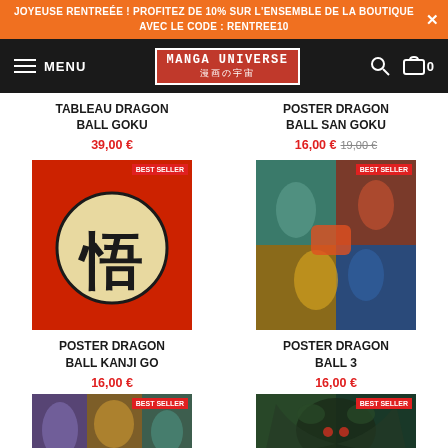JOYEUSE RENTREÉE ! PROFITEZ DE 10% SUR L'ENSEMBLE DE LA BOUTIQUE AVEC LE CODE : RENTREE10
[Figure (screenshot): Manga Universe navigation bar with hamburger menu, logo, search icon, and cart icon showing 0 items]
TABLEAU DRAGON BALL GOKU
39,00 €
POSTER DRAGON BALL SAN GOKU
16,00 € 19,00 €
[Figure (photo): Dragon Ball Kanji Go poster – red background with black circle containing gold kanji character 悟]
[Figure (photo): Dragon Ball 3 poster – colorful manga illustration with multiple Dragon Ball characters in combat]
POSTER DRAGON BALL KANJI GO
16,00 €
POSTER DRAGON BALL 3
16,00 €
[Figure (photo): Partial Dragon Ball product image – colorful characters group illustration (bottom, cropped)]
[Figure (photo): Partial Dragon Ball product image – dark character illustration (bottom, cropped)]